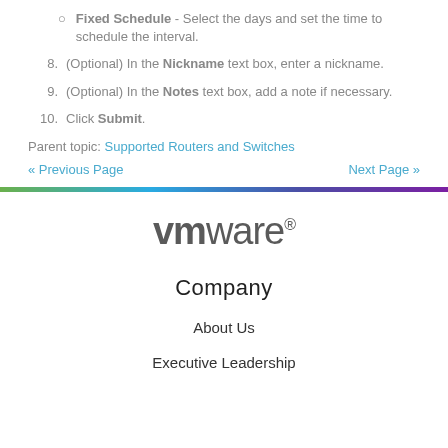Fixed Schedule - Select the days and set the time to schedule the interval.
8. (Optional) In the Nickname text box, enter a nickname.
9. (Optional) In the Notes text box, add a note if necessary.
10. Click Submit.
Parent topic: Supported Routers and Switches
« Previous Page   Next Page »
[Figure (logo): VMware logo with gradient bar below]
Company
About Us
Executive Leadership